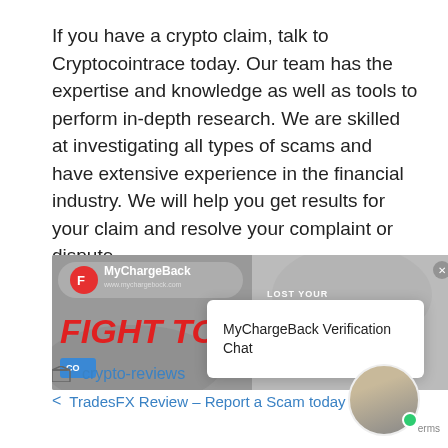If you have a crypto claim, talk to Cryptocointrace today. Our team has the expertise and knowledge as well as tools to perform in-depth research. We are skilled at investigating all types of scams and have extensive experience in the financial industry. We will help you get results for your claim and resolve your complaint or dispute.
[Figure (screenshot): Advertisement banner for MyChargeBack with 'FIGHT TO GET...' text in red, logo in top left, close button in top right, and a blue button. Overlaid by a MyChargeBack Verification Chat popup.]
crypto-reviews
TradesFX Review – Report a Scam today